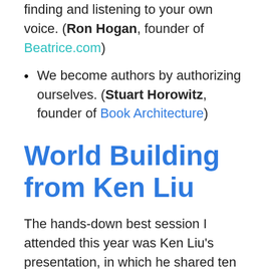writing: escaping the difficulty of finding and listening to your own voice. (Ron Hogan, founder of Beatrice.com)
We become authors by authorizing ourselves. (Stuart Horowitz, founder of Book Architecture)
World Building from Ken Liu
The hands-down best session I attended this year was Ken Liu's presentation, in which he shared ten tips for compelling